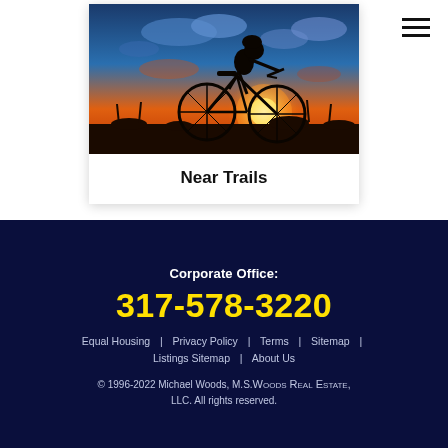[Figure (photo): Silhouette of a cyclist on a bicycle against a dramatic orange and blue sunset sky with clouds]
Near Trails
Corporate Office:
317-578-3220
Equal Housing | Privacy Policy | Terms | Sitemap | Listings Sitemap | About Us
© 1996-2022 Michael Woods, M.S.WOODS REAL ESTATE, LLC. All rights reserved.